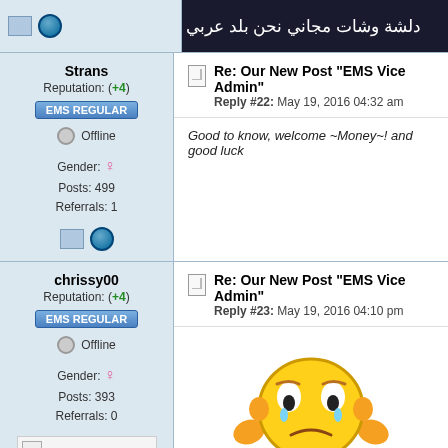[Figure (screenshot): Top partial forum row with Arabic text banner image on right, user icons on left]
Strans
Reputation: (+4)
EMS REGULAR
Offline
Gender: ♀ Posts: 499 Referrals: 1
Re: Our New Post "EMS Vice Admin"
Reply #22: May 19, 2016 04:32 am
Good to know, welcome ~Money~! and good luck
chrissy00
Reputation: (+4)
EMS REGULAR
Offline
Gender: ♀ Posts: 393 Referrals: 0
Re: Our New Post "EMS Vice Admin"
Reply #23: May 19, 2016 04:10 pm
[Figure (illustration): Sad yellow cartoon emoji character with tears, hands on cheeks, sitting]